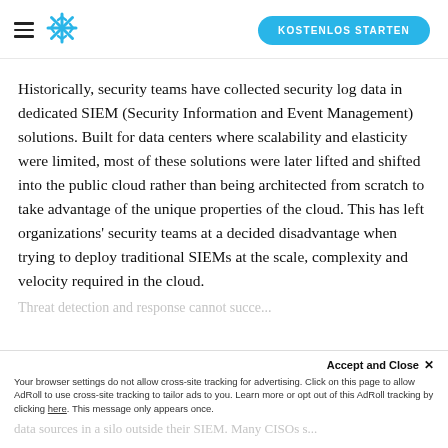Snowflake logo and KOSTENLOS STARTEN button
Historically, security teams have collected security log data in dedicated SIEM (Security Information and Event Management) solutions. Built for data centers where scalability and elasticity were limited, most of these solutions were later lifted and shifted into the public cloud rather than being architected from scratch to take advantage of the unique properties of the cloud. This has left organizations' security teams at a decided disadvantage when trying to deploy traditional SIEMs at the scale, complexity and velocity required in the cloud.
Threat detection and response cannot succe...
Accept and Close ×
Your browser settings do not allow cross-site tracking for advertising. Click on this page to allow AdRoll to use cross-site tracking to tailor ads to you. Learn more or opt out of this AdRoll tracking by clicking here. This message only appears once.
data sources in a silo outside their SIEM. Many CISOs s...